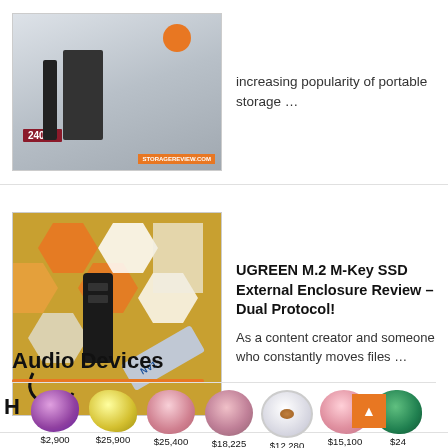[Figure (photo): Product image of a 240GB portable SSD storage device]
increasing popularity of portable storage …
[Figure (photo): UGREEN M.2 M-Key SSD External Enclosure with accessories on hexagonal tile background, including Kingston NV1 drive]
UGREEN M.2 M-Key SSD External Enclosure Review – Dual Protocol!
As a content creator and someone who constantly moves files …
Audio Devices
[Figure (photo): Row of gemstones with prices: $2,900, $25,900, $25,400, $18,225, $12,280, $15,100, $24X]